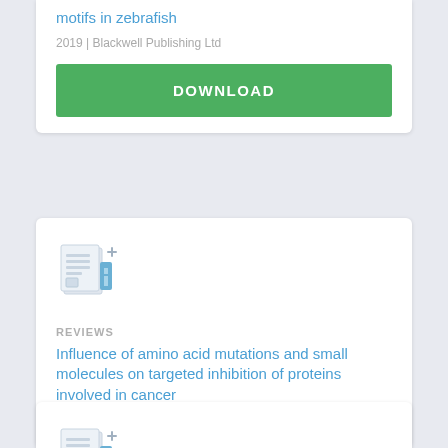motifs in zebrafish
2019 | Blackwell Publishing Ltd
DOWNLOAD
[Figure (illustration): Document/report icon with a plus sign, showing stacked pages and a blue bar chart element]
REVIEWS
Influence of amino acid mutations and small molecules on targeted inhibition of proteins involved in cancer
2019 | Bentham Science Publishers
[Figure (illustration): Document/report icon with a plus sign, showing stacked pages and a blue bar chart element]